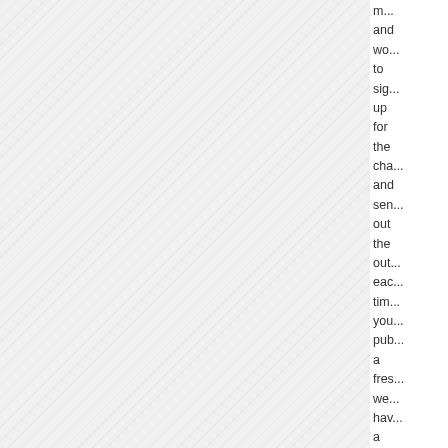[Figure (other): Diagonal striped background pattern covering the left portion of the page]
m... and wo... to sig... up for the cha... and sen... out the out... eac... tim... you... pub... a fres... we... have a pee... at